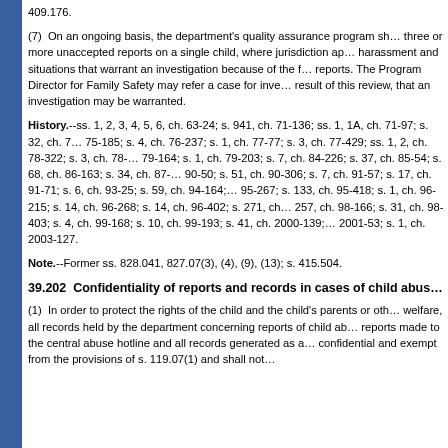409.176.
(7)  On an ongoing basis, the department's quality assurance program shall review three or more unaccepted reports on a single child, where jurisdiction appears proper, harassment and situations that warrant an investigation because of the frequency of reports. The Program Director for Family Safety may refer a case for investigation as a result of this review, that an investigation may be warranted.
History.--ss. 1, 2, 3, 4, 5, 6, ch. 63-24; s. 941, ch. 71-136; ss. 1, 1A, ch. 71-97; s. 32, ch. 74-383; s. 3, ch. 75-185; s. 4, ch. 76-237; s. 1, ch. 77-77; s. 3, ch. 77-429; ss. 1, 2, ch. 78-322; s. 3, ch. 78-326; s. 1, ch. 79-164; s. 1, ch. 79-203; s. 7, ch. 84-226; s. 37, ch. 85-54; s. 68, ch. 86-163; s. 34, ch. 87-238; s. 1, ch. 90-50; s. 51, ch. 90-306; s. 7, ch. 91-57; s. 17, ch. 91-71; s. 6, ch. 93-25; s. 59, ch. 94-164; s. 136, ch. 95-267; s. 133, ch. 95-418; s. 1, ch. 96-215; s. 14, ch. 96-268; s. 14, ch. 96-402; s. 271, ch. 96-406; s. 257, ch. 98-166; s. 31, ch. 98-403; s. 4, ch. 99-168; s. 10, ch. 99-193; s. 41, ch. 2000-139; s. 17, ch. 2001-53; s. 1, ch. 2003-127.
Note.--Former ss. 828.041, 827.07(3), (4), (9), (13); s. 415.504.
39.202  Confidentiality of reports and records in cases of child abuse
(1)  In order to protect the rights of the child and the child's parents or other welfare, all records held by the department concerning reports of child abuse, reports made to the central abuse hotline and all records generated as a result are confidential and exempt from the provisions of s. 119.07(1) and shall not be disclosed.